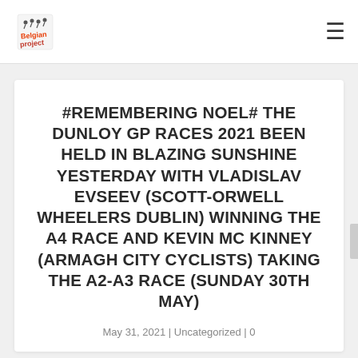Belgian Project logo | hamburger menu
#REMEMBERING NOEL# THE DUNLOY GP RACES 2021 BEEN HELD IN BLAZING SUNSHINE YESTERDAY WITH VLADISLAV EVSEEV (SCOTT-ORWELL WHEELERS DUBLIN) WINNING THE A4 RACE AND KEVIN MC KINNEY (ARMAGH CITY CYCLISTS) TAKING THE A2-A3 RACE (SUNDAY 30TH MAY)
May 31, 2021 | Uncategorized | 0